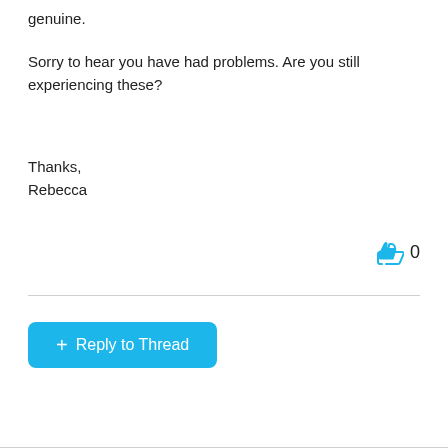genuine.
Sorry to hear you have had problems. Are you still experiencing these?
Thanks,
Rebecca
[Figure (illustration): Thumbs up (like) icon in cyan/blue color followed by the number 0]
[Figure (other): Cyan button with white text '+ Reply to Thread']